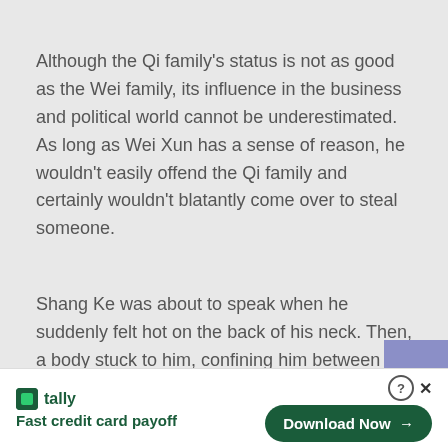Although the Qi family’s status is not as good as the Wei family, its influence in the business and political world cannot be underestimated. As long as Wei Xun has a sense of reason, he wouldn’t easily offend the Qi family and certainly wouldn’t blatantly come over to steal someone.
Shang Ke was about to speak when he suddenly felt hot on the back of his neck. Then, a body stuck to him, confining him between his arms.
“…………”
[Figure (other): Advertisement banner for Tally app — Fast credit card payoff — with Download Now button]
[Figure (other): Purple/blue rectangular block in lower right corner]